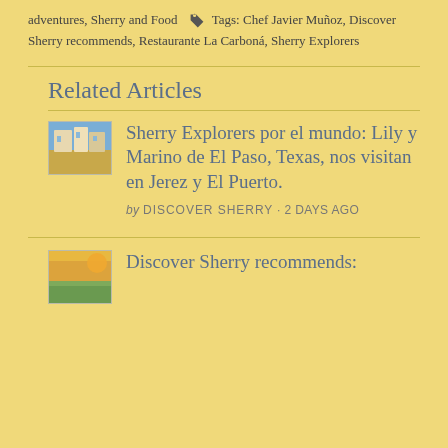adventures, Sherry and Food  🏷 Tags: Chef Javier Muñoz, Discover Sherry recommends, Restaurante La Carboná, Sherry Explorers
Related Articles
[Figure (photo): Small thumbnail image of a colorful street scene]
Sherry Explorers por el mundo: Lily y Marino de El Paso, Texas, nos visitan en Jerez y El Puerto.
by DISCOVER SHERRY · 2 DAYS AGO
[Figure (photo): Small thumbnail image of a landscape at sunset]
Discover Sherry recommends: